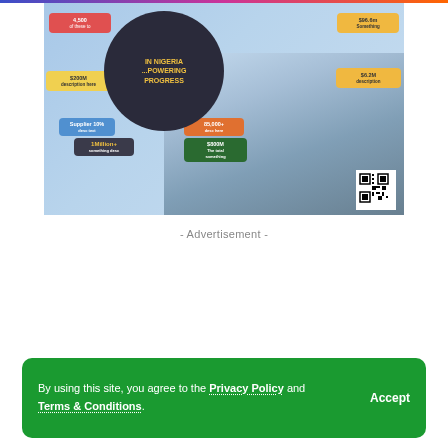[Figure (infographic): Infographic about Nigeria showing a circular wheel diagram with statistics including $200M, $6.2M, $800M, $96.6M, 4,500, Supplier 10%, 1Million+, 85,000+, overlaid on a photograph of a port/ship scene with shipping containers and workers in orange safety gear, with a QR code in the bottom right corner. Text on wheel reads 'IN NIGERIA ...POWERING PROGRESS']
- Advertisement -
By using this site, you agree to the Privacy Policy and Terms & Conditions.